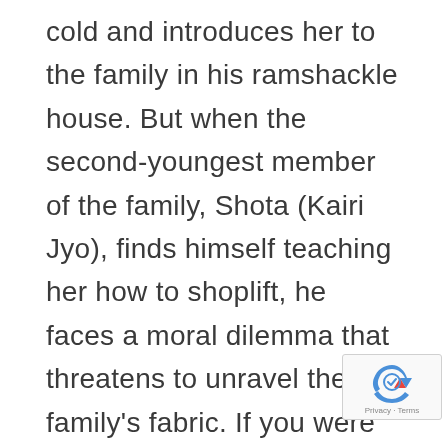cold and introduces her to the family in his ramshackle house. But when the second-youngest member of the family, Shota (Kairi Jyo), finds himself teaching her how to shoplift, he faces a moral dilemma that threatens to unravel the family's fabric. If you were hitherto unfamiliar with the unique storytelling and social realism of Hirokazu Koreeda, we really recommend checking it out—as well as his other movies, namely, Still Walking, Like Father, Like Son, I Wish, and After the Storm. His 2018 outing features the last ever performance of Kirin Kiki, who plays the elderly matriarch and passed away that same year. Like many of Koreeda's works, Shoplifters is an understated, beautiful, and mysterious study of the effects of poverty and trauma and a delicate portrait of